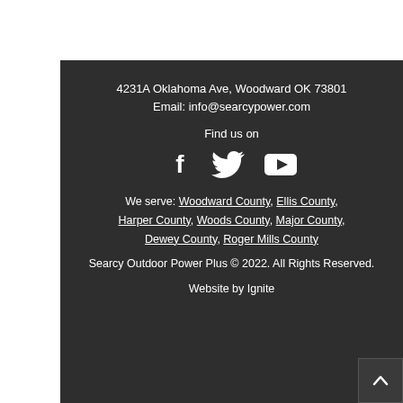4231A Oklahoma Ave, Woodward OK 73801
Email: info@searcypower.com
Find us on
[Figure (illustration): Social media icons: Facebook, Twitter, YouTube]
We serve: Woodward County, Ellis County, Harper County, Woods County, Major County, Dewey County, Roger Mills County
Searcy Outdoor Power Plus © 2022. All Rights Reserved.
Website by Ignite